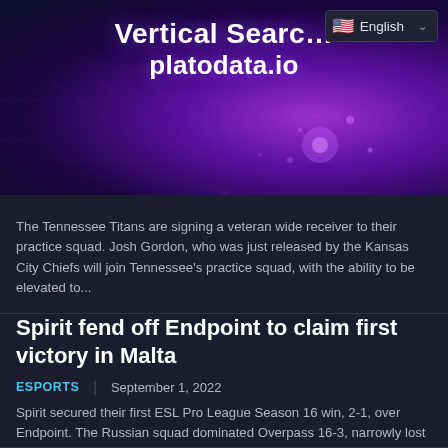[Figure (illustration): Dark purple/blue tech banner with glowing network grid pattern and text 'Vertical Search platodata.io' with English language selector badge in top right]
The Tennessee Titans are signing a veteran wide receiver to their practice squad. Josh Gordon, who was just released by the Kansas City Chiefs will join Tennessee's practice squad, with the ability to be elevated to...
Spirit fend off Endpoint to claim first victory in Malta
ESPORTS | September 1, 2022
Spirit secured their first ESL Pro League Season 16 win, 2-1, over Endpoint. The Russian squad dominated Overpass 16-3, narrowly lost Ancient 17-19 in overtime, and came out on top 22-18 after two rounds of OT...